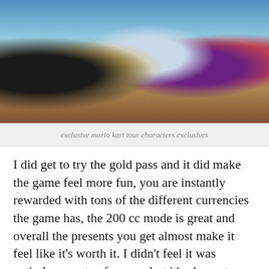[Figure (photo): Mario Kart Tour exclusive characters shown in a colorful promotional image — characters include Mario, a man in a hat, a character in blue racing outfit, Pauline in a dress, and a princess in red dress.]
exclusive mario kart tour characters exclusives
I did get to try the gold pass and it did make the game feel more fun, you are instantly rewarded with tons of the different currencies the game has, the 200 cc mode is great and overall the presents you get almost make it feel like it's worth it. I didn't feel it was entirely a waste of money but it's also not necessary to just casually enjoy Mario Kart on the go. I guess if you want to have everything then yeah the game would be a bit expensive when compared to other kart racers or Mario Kart titles but that's not how you need to view the game, more of a fun experience that you have.
[Figure (photo): Mario Kart Tour logo banner with tropical beach background scene.]